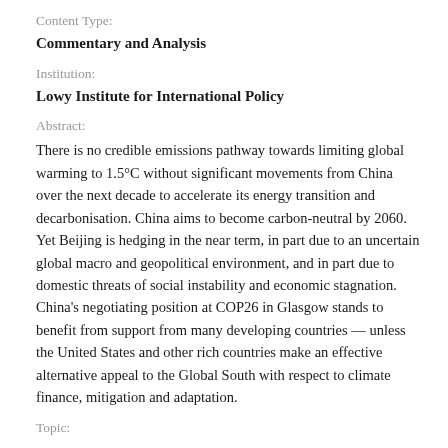Content Type:
Commentary and Analysis
Institution:
Lowy Institute for International Policy
Abstract:
There is no credible emissions pathway towards limiting global warming to 1.5°C without significant movements from China over the next decade to accelerate its energy transition and decarbonisation. China aims to become carbon-neutral by 2060. Yet Beijing is hedging in the near term, in part due to an uncertain global macro and geopolitical environment, and in part due to domestic threats of social instability and economic stagnation. China's negotiating position at COP26 in Glasgow stands to benefit from support from many developing countries — unless the United States and other rich countries make an effective alternative appeal to the Global South with respect to climate finance, mitigation and adaptation.
Topic: